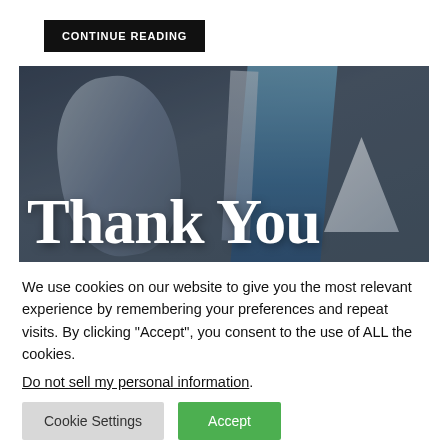CONTINUE READING
[Figure (photo): A dark-toned banner image with musical instruments (drums, blue metallic elements, white angular shape) and large white serif text reading 'Thank You' overlaid on the image.]
We use cookies on our website to give you the most relevant experience by remembering your preferences and repeat visits. By clicking "Accept", you consent to the use of ALL the cookies.
Do not sell my personal information.
Cookie Settings
Accept